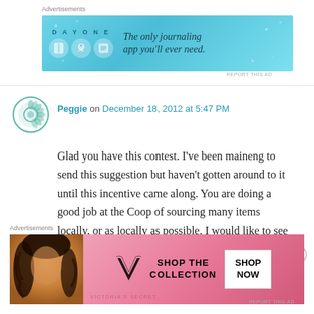Advertisements
[Figure (screenshot): Day One journaling app advertisement banner with blue background, app icons, and text: 'The only journaling app you'll ever need.']
Peggie on December 18, 2012 at 5:47 PM
Glad you have this contest. I've been maineng to send this suggestion but haven't gotten around to it until this incentive came along. You are doing a good job at the Coop of sourcing many items locally, or as locally as possible. I would like to see the coop source even more items from local growers and producers, and less
Advertisements
[Figure (screenshot): Victoria's Secret advertisement with a model photo on left, pink background, VS logo, 'SHOP THE COLLECTION' text, and 'SHOP NOW' button.]